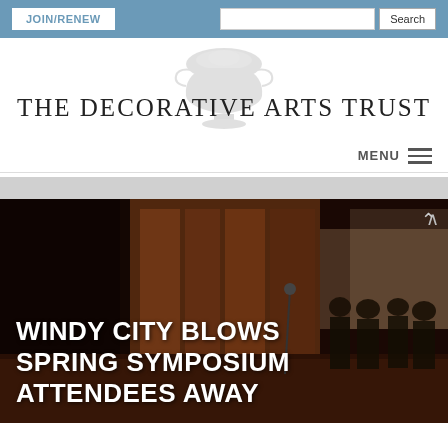JOIN/RENEW | Search
THE DECORATIVE ARTS TRUST
MENU
[Figure (photo): Interior event hall photo showing people standing, dark warm tones, with overlay text: WINDY CITY BLOWS SPRING SYMPOSIUM ATTENDEES AWAY]
WINDY CITY BLOWS SPRING SYMPOSIUM ATTENDEES AWAY